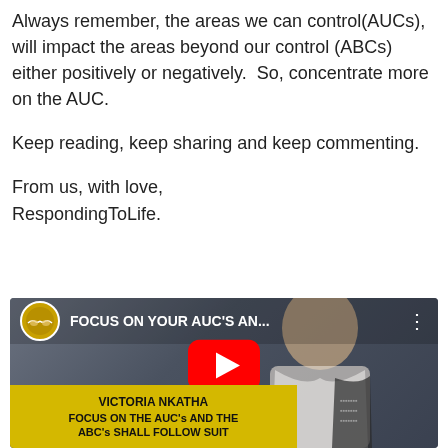Always remember, the areas we can control(AUCs), will impact the areas beyond our control (ABCs) either positively or negatively.  So, concentrate more on the AUC.
Keep reading, keep sharing and keep commenting.
From us, with love,
RespondingToLife.
[Figure (screenshot): YouTube video thumbnail showing a woman in a white blazer with text overlay. Logo circle with hands and golden background. Title: FOCUS ON YOUR AUC'S AN... with three dots menu. Red play button in center. Yellow bar at bottom reads: VICTORIA NKATHA / FOCUS ON THE AUC's AND THE / ABC's SHALL FOLLOW SUIT]